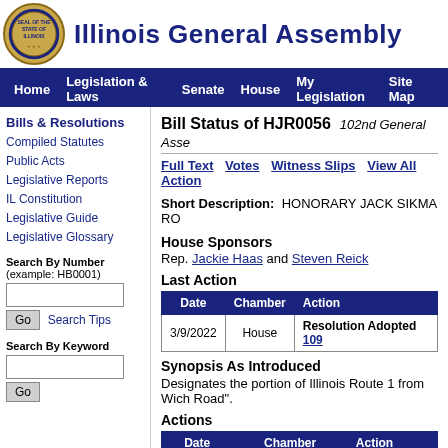Illinois General Assembly
Home | Legislation & Laws | Senate | House | My Legislation | Site Map
Bills & Resolutions
Compiled Statutes
Public Acts
Legislative Reports
IL Constitution
Legislative Guide
Legislative Glossary
Search By Number (example: HB0001)
Search By Keyword
Bill Status of HJR0056   102nd General Assembly
Full Text   Votes   Witness Slips   View All Actions
Short Description:   HONORARY JACK SIKMA RO
House Sponsors
Rep. Jackie Haas and Steven Reick
Last Action
| Date | Chamber | Action |
| --- | --- | --- |
| 3/9/2022 | House | Resolution Adopted 109 |
Synopsis As Introduced
Designates the portion of Illinois Route 1 from Wich Road".
Actions
| Date | Chamber | Action |
| --- | --- | --- |